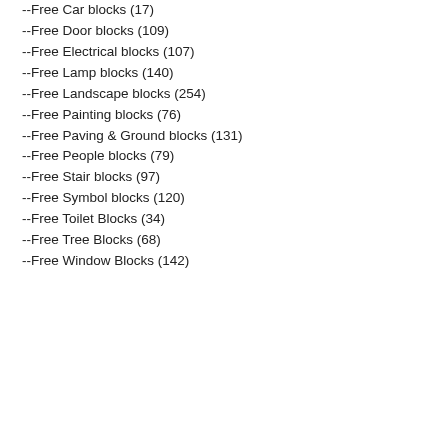--Free Car blocks (17)
--Free Door blocks (109)
--Free Electrical blocks (107)
--Free Lamp blocks (140)
--Free Landscape blocks (254)
--Free Painting blocks (76)
--Free Paving & Ground blocks (131)
--Free People blocks (79)
--Free Stair blocks (97)
--Free Symbol blocks (120)
--Free Toilet Blocks (34)
--Free Tree Blocks (68)
--Free Window Blocks (142)